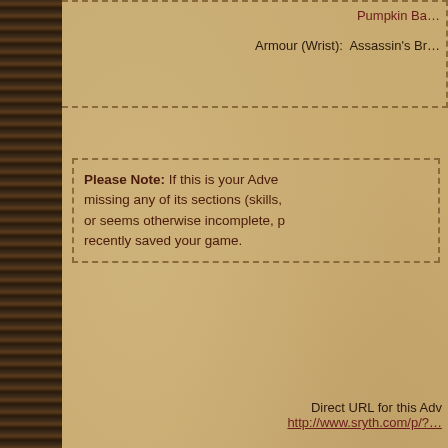Pumpkin Ba...
Armour (Wrist):  Assassin's Br...
Please Note: If this is your Adve... missing any of its sections (skills, or seems otherwise incomplete, p... recently saved your game.
Direct URL for this Adv... http://www.sryth.com/p/?...
Adventurer Profile last update...
Click Back in your browser t... Champio...
Copyright ©2022 Matthew H. Yarrows/Ep... Sryth™ and Sryth.com™ are Tradema... Legal Not...